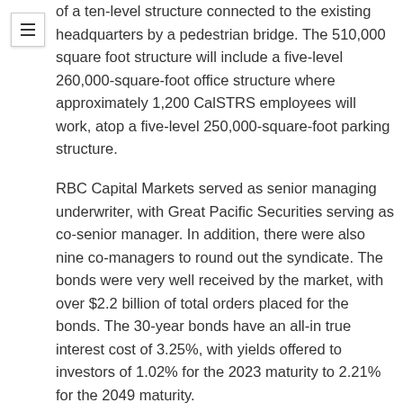of a ten-level structure connected to the existing headquarters by a pedestrian bridge. The 510,000 square foot structure will include a five-level 260,000-square-foot office structure where approximately 1,200 CalSTRS employees will work, atop a five-level 250,000-square-foot parking structure.
RBC Capital Markets served as senior managing underwriter, with Great Pacific Securities serving as co-senior manager. In addition, there were also nine co-managers to round out the syndicate. The bonds were very well received by the market, with over $2.2 billion of total orders placed for the bonds. The 30-year bonds have an all-in true interest cost of 3.25%, with yields offered to investors of 1.02% for the 2023 maturity to 2.21% for the 2049 maturity.